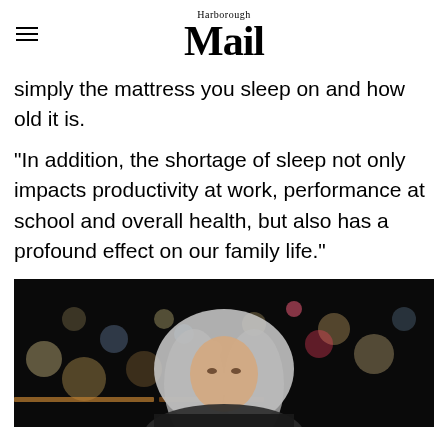Harborough Mail
simply the mattress you sleep on and how old it is.
“In addition, the shortage of sleep not only impacts productivity at work, performance at school and overall health, but also has a profound effect on our family life.”
[Figure (photo): A blonde woman photographed against a dark bokeh background with colorful out-of-focus lights]